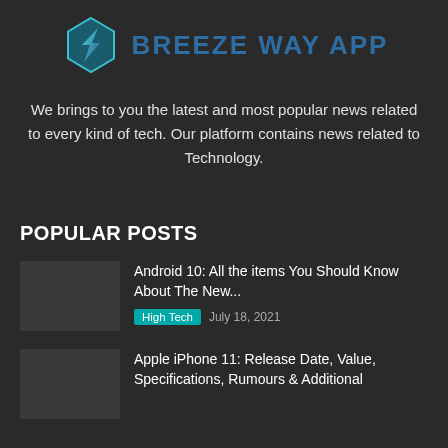[Figure (logo): Breeze Way App logo with hexagon icon and blue text]
We brings to you the latest and most popular news related to every kind of tech. Our platform contains news related to Technology.
POPULAR POSTS
Android 10: All the items You Should Know About The New...
High Tech  July 18, 2021
Apple iPhone 11: Release Date, Value, Specifications, Rumours & Additional